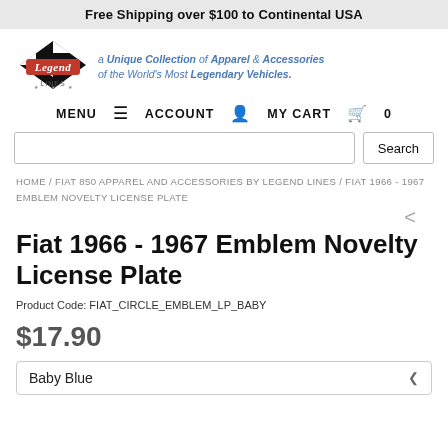Free Shipping over $100 to Continental USA
[Figure (logo): Legend Lines logo with checkered flag design and script text]
a Unique Collection of Apparel & Accessories of the World's Most Legendary Vehicles.
MENU  ≡   ACCOUNT  ▲   MY CART  ▆ 0
Search
HOME / FIAT 850 APPAREL AND ACCESSORIES BY LEGEND LINES / FIAT 1966 - 1967 EMBLEM NOVELTY LICENSE PLATE
Fiat 1966 - 1967 Emblem Novelty License Plate
Product Code: FIAT_CIRCLE_EMBLEM_LP_BABY
$17.90
Baby Blue